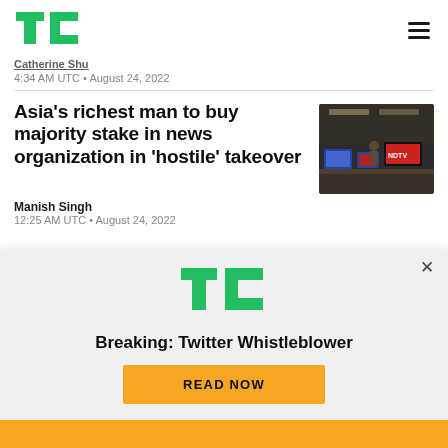TechCrunch logo and navigation
Catherine Shu
4:34 AM UTC • August 24, 2022
Asia's richest man to buy majority stake in news organization in 'hostile' takeover
[Figure (photo): Office or newsroom interior with monitors and people, NDTV logo visible]
Manish Singh
12:25 AM UTC • August 24, 2022
[Figure (logo): TechCrunch TC logo in green]
Breaking: Twitter Whistleblower
READ NOW